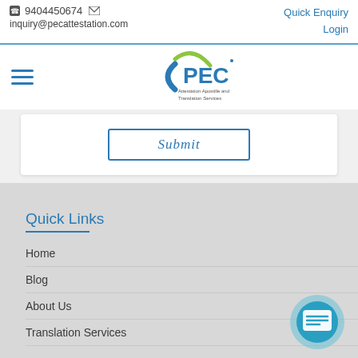9404450674  inquiry@pecattestation.com  Quick Enquiry  Login
[Figure (logo): PEC logo - Attestation Apostille and Translation Services]
Submit
Quick Links
Home
Blog
About Us
Translation Services